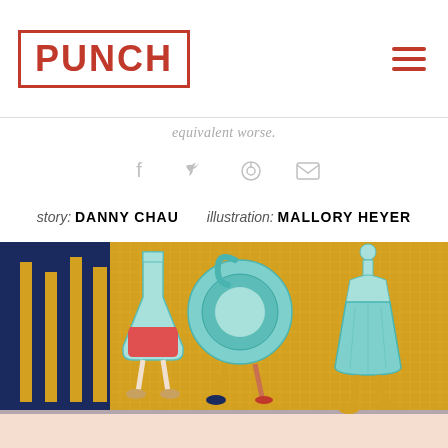PUNCH
equivalent worse.
[Figure (infographic): Social media share icons: Facebook (f), Twitter (bird), Pinterest (p), Email (envelope) — gray colored]
story: DANNY CHAU   illustration: MALLORY HEYER
[Figure (illustration): Illustration showing three glass vessels with human legs walking: a conical flask with red liquid, a round decanter, and a tall decanter — in teal/aqua colors against a yellow grid and dark blue background]